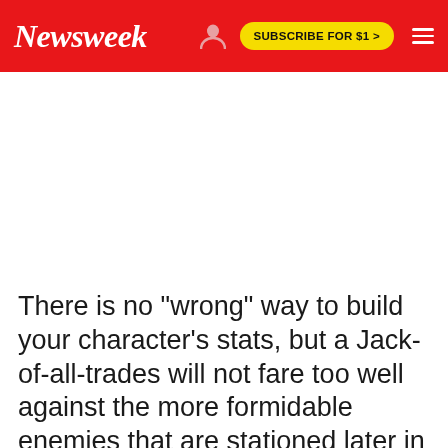Newsweek
There is no "wrong" way to build your character's stats, but a Jack-of-all-trades will not fare too well against the more formidable enemies that are stationed later in the game.